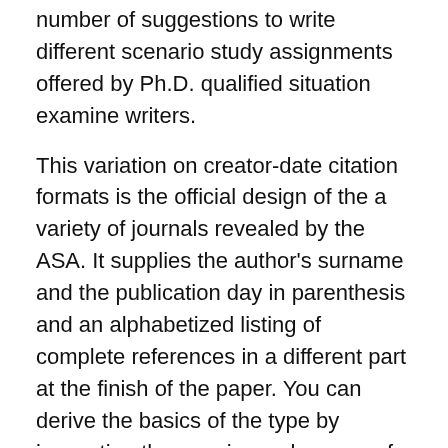number of suggestions to write different scenario study assignments offered by Ph.D. qualified situation examine writers.
This variation on creator-date citation formats is the official design of the a variety of journals revealed by the ASA. It supplies the author's surname and the publication day in parenthesis and an alphabetized listing of complete references in a different part at the finish of the paper. You can derive the basics of the type by inspecting the opening web pages of an ASA journal, for case in point American Sociological Overview (its flagship journal) or Contemporary Sociology. Student associates of ASA can obtain a style guide via the ASA pupil segment internet site. The last services is quite critical because English spelling is often considered to be one particular of the most challenging in the entire world. You have to bear a fantastic sum of terms which possess different spelling and pronunciation in your brain. In addition, English words